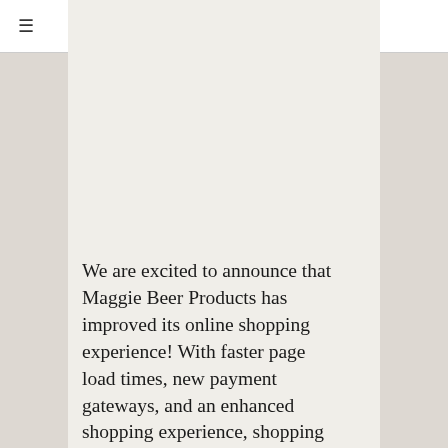Our New Online Shopping Experience
[Figure (photo): Person holding an open gift box with bottles and products inside, viewed from above at an angle.]
We are excited to announce that Maggie Beer Products has improved its online shopping experience! With faster page load times, new payment gateways, and an enhanced shopping experience, shopping with us online has never been this easy.
Visit our new online store at shop.maggiebeer.com.au or sign in to your Food Club account at